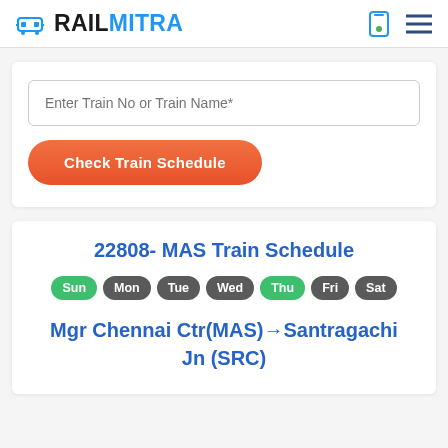RAILMITRA
Enter Train No or Train Name*
Check Train Schedule
22808- MAS Train Schedule
Sun Mon Tue Wed Thu Fri Sat
Mgr Chennai Ctr(MAS)→Santragachi Jn (SRC)